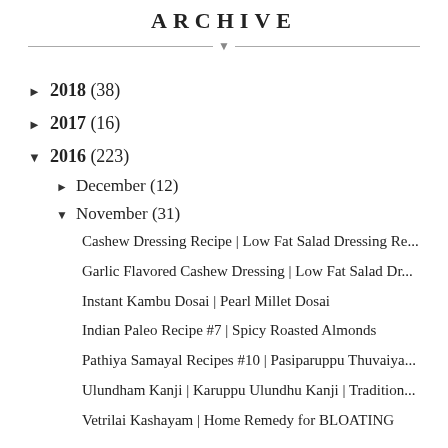ARCHIVE
► 2018 (38)
► 2017 (16)
▼ 2016 (223)
► December (12)
▼ November (31)
Cashew Dressing Recipe | Low Fat Salad Dressing Re...
Garlic Flavored Cashew Dressing | Low Fat Salad Dr...
Instant Kambu Dosai | Pearl Millet Dosai
Indian Paleo Recipe #7 | Spicy Roasted Almonds
Pathiya Samayal Recipes #10 | Pasiparuppu Thuvaiya...
Ulundham Kanji | Karuppu Ulundhu Kanji | Tradition...
Vetrilai Kashayam | Home Remedy for BLOATING